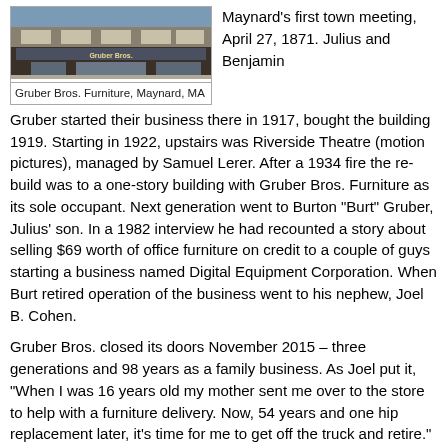[Figure (photo): Exterior photo of Gruber Bros. Furniture store in Maynard, MA]
Gruber Bros. Furniture, Maynard, MA
Maynard's first town meeting, April 27, 1871. Julius and Benjamin Gruber started their business there in 1917, bought the building 1919. Starting in 1922, upstairs was Riverside Theatre (motion pictures), managed by Samuel Lerer. After a 1934 fire the re-build was to a one-story building with Gruber Bros. Furniture as its sole occupant. Next generation went to Burton "Burt" Gruber, Julius' son. In a 1982 interview he had recounted a story about selling $69 worth of office furniture on credit to a couple of guys starting a business named Digital Equipment Corporation. When Burt retired operation of the business went to his nephew, Joel B. Cohen.
Gruber Bros. closed its doors November 2015 – three generations and 98 years as a family business. As Joel put it, "When I was 16 years old my mother sent me over to the store to help with a furniture delivery. Now, 54 years and one hip replacement later, it's time for me to get off the truck and retire." As of 2020 the building is slated for destruction to make way for a four-story brick apartment building with retail tenant(s) on the first floor.